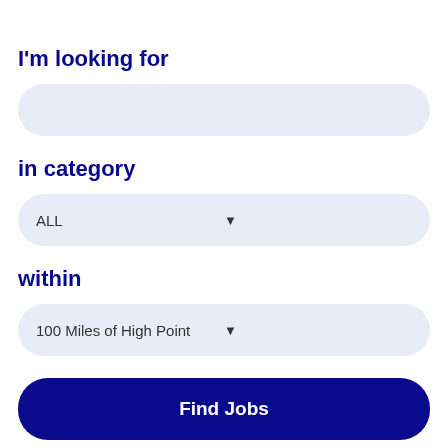I'm looking for
[Figure (screenshot): Empty text input field with light blue rounded background]
in category
[Figure (screenshot): Dropdown select field showing 'ALL' with light blue rounded background and down arrow]
within
[Figure (screenshot): Dropdown select field showing '100 Miles of High Point' with light blue rounded background and down arrow]
[Figure (screenshot): Dark navy blue rounded button with white bold text 'Find Jobs']
New High Point Jobs